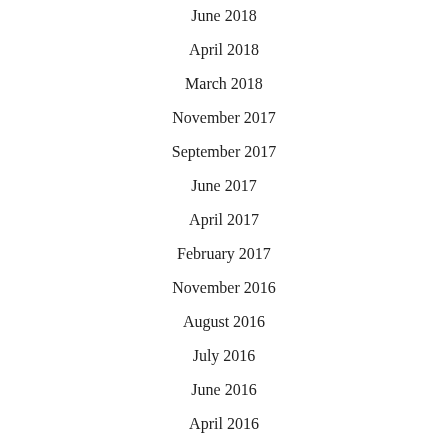June 2018
April 2018
March 2018
November 2017
September 2017
June 2017
April 2017
February 2017
November 2016
August 2016
July 2016
June 2016
April 2016
February 2016